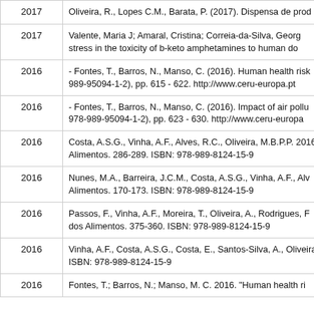| Year | Reference |
| --- | --- |
| 2017 | Oliveira, R., Lopes C.M., Barata, P. (2017). Dispensa de prod |
| 2017 | Valente, Maria J; Amaral, Cristina; Correia-da-Silva, Georg... stress in the toxicity of b-keto amphetamines to human do... |
| 2016 | - Fontes, T., Barros, N., Manso, C. (2016). Human health risk... 989-95094-1-2), pp. 615 - 622. http://www.ceru-europa.pt |
| 2016 | - Fontes, T., Barros, N., Manso, C. (2016). Impact of air pollu... 978-989-95094-1-2), pp. 623 - 630. http://www.ceru-europa... |
| 2016 | Costa, A.S.G., Vinha, A.F., Alves, R.C., Oliveira, M.B.P.P. 2016... Alimentos. 286-289. ISBN: 978-989-8124-15-9 |
| 2016 | Nunes, M.A., Barreira, J.C.M., Costa, A.S.G., Vinha, A.F., Alv... Alimentos. 170-173. ISBN: 978-989-8124-15-9 |
| 2016 | Passos, F., Vinha, A.F., Moreira, T., Oliveira, A., Rodrigues, F... dos Alimentos. 375-360. ISBN: 978-989-8124-15-9 |
| 2016 | Vinha, A.F., Costa, A.S.G., Costa, E., Santos-Silva, A., Oliveira... ISBN: 978-989-8124-15-9 |
| 2016 | Fontes, T.; Barros, N.; Manso, M. C. 2016. "Human health ri... |